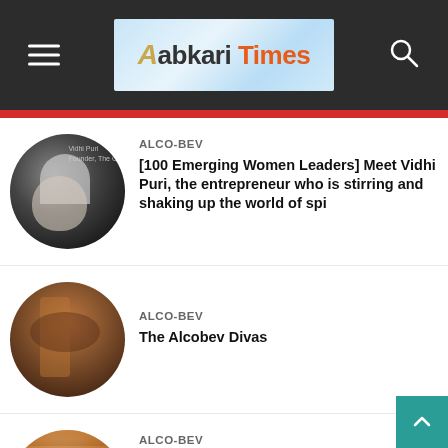Abkari Times
[Figure (photo): Circular thumbnail of a person holding a white cup at a dark background event, with text 'Vidhi Puri Founder, The C...']
ALCO-BEV
[100 Emerging Women Leaders] Meet Vidhi Puri, the entrepreneur who is stirring and shaking up the world of spi
[Figure (photo): Circular thumbnail showing copper distillery equipment with industrial piping]
ALCO-BEV
The Alcobev Divas
[Figure (photo): Circular thumbnail of a person in orange attire holding a bottle]
ALCO-BEV
Homegrown alco-bev brands are being very well received by Indian Varna Bhat, Founder & CEO of Blisswater Industries